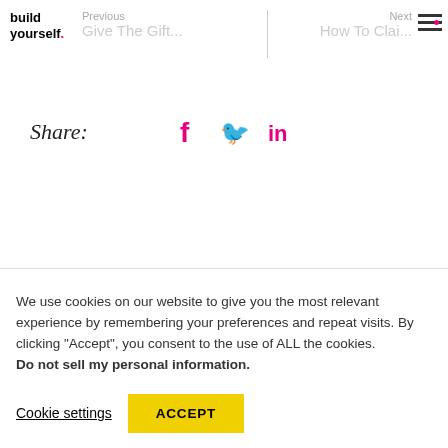build yourself
Previous | Give The Gift...
Next | How To Clai...
Share:
We use cookies on our website to give you the most relevant experience by remembering your preferences and repeat visits. By clicking "Accept", you consent to the use of ALL the cookies. Do not sell my personal information.
Cookie settings
ACCEPT